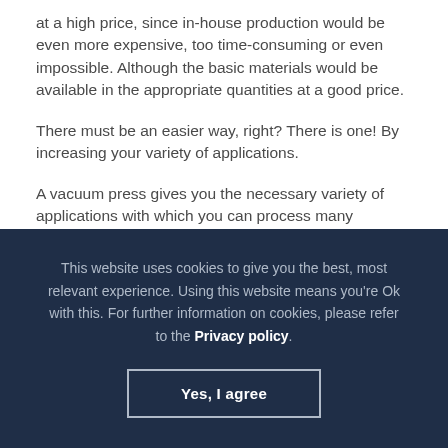at a high price, since in-house production would be even more expensive, too time-consuming or even impossible. Although the basic materials would be available in the appropriate quantities at a good price.
There must be an easier way, right? There is one! By increasing your variety of applications.
A vacuum press gives you the necessary variety of applications with which you can process many materials into a wide variety
This website uses cookies to give you the best, most relevant experience. Using this website means you're Ok with this. For further information on cookies, please refer to the Privacy policy.
Yes, I agree